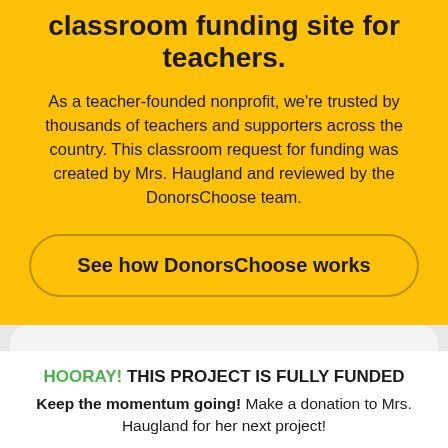classroom funding site for teachers.
As a teacher-founded nonprofit, we're trusted by thousands of teachers and supporters across the country. This classroom request for funding was created by Mrs. Haugland and reviewed by the DonorsChoose team.
See how DonorsChoose works
HOORAY! THIS PROJECT IS FULLY FUNDED
Keep the momentum going! Make a donation to Mrs. Haugland for her next project!
Help Mrs. Haugland